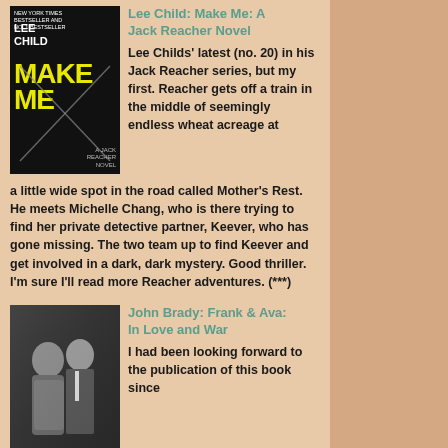[Figure (photo): Book cover of Lee Child Make Me: A Jack Reacher Novel - black cover with yellow text and X lines]
Lee Child: Make Me: A Jack Reacher Novel
Lee Childs' latest (no. 20) in his Jack Reacher series, but my first. Reacher gets off a train in the middle of seemingly endless wheat acreage at a little wide spot in the road called Mother's Rest. He meets Michelle Chang, who is there trying to find her private detective partner, Keever, who has gone missing. The two team up to find Keever and get involved in a dark, dark mystery. Good thriller. I'm sure I'll read more Reacher adventures. (***)
[Figure (photo): Black and white photo of Frank Sinatra and Ava Gardner together at an event]
John Brady: Frank & Ava: In Love and War
I had been looking forward to the publication of this book since